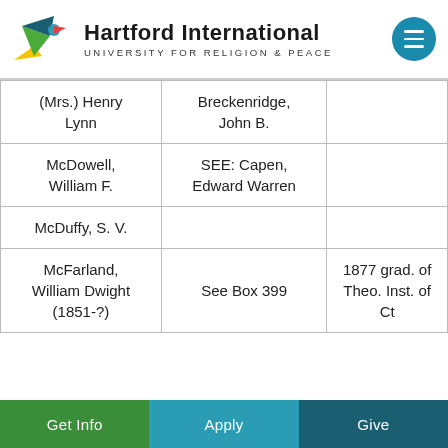Hartford International UNIVERSITY FOR RELIGION & PEACE
| (Mrs.) Henry Lynn | Breckenridge, John B. |  |
| McDowell, William F. | SEE: Capen, Edward Warren |  |
| McDuffy, S. V. |  |  |
| McFarland, William Dwight (1851-?) | See Box 399 | 1877 grad. of Theo. Inst. of Ct |
Get Info   Apply   Give